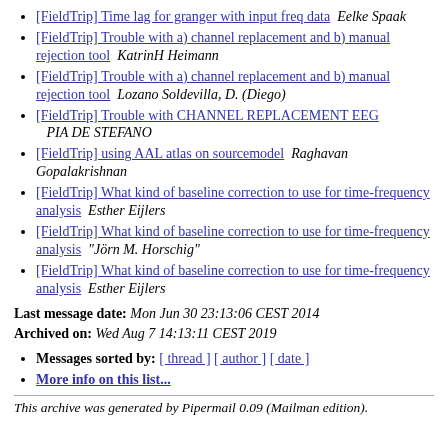[FieldTrip] Time lag for granger with input freq data  Eelke Spaak
[FieldTrip] Trouble with a) channel replacement and b) manual rejection tool  KatrinH Heimann
[FieldTrip] Trouble with a) channel replacement and b) manual rejection tool  Lozano Soldevilla, D. (Diego)
[FieldTrip] Trouble with CHANNEL REPLACEMENT EEG  PIA DE STEFANO
[FieldTrip] using AAL atlas on sourcemodel  Raghavan Gopalakrishnan
[FieldTrip] What kind of baseline correction to use for time-frequency analysis  Esther Eijlers
[FieldTrip] What kind of baseline correction to use for time-frequency analysis  "Jörn M. Horschig"
[FieldTrip] What kind of baseline correction to use for time-frequency analysis  Esther Eijlers
Last message date: Mon Jun 30 23:13:06 CEST 2014
Archived on: Wed Aug 7 14:13:11 CEST 2019
Messages sorted by: [ thread ] [ author ] [ date ]
More info on this list...
This archive was generated by Pipermail 0.09 (Mailman edition).